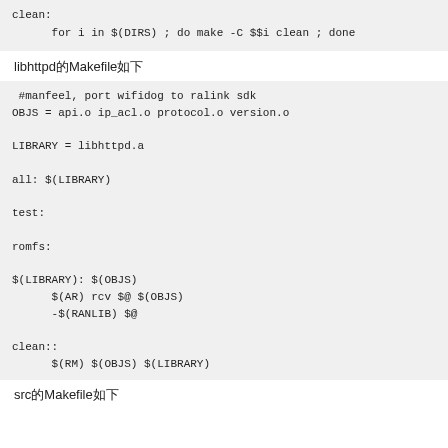clean:
        for i in $(DIRS) ; do make -C $$i clean ; done
libhttpd的Makefile如下
#manfeel, port wifidog to ralink sdk
OBJS = api.o ip_acl.o protocol.o version.o

LIBRARY = libhttpd.a

all: $(LIBRARY)

test:

romfs:

$(LIBRARY): $(OBJS)
        $(AR) rcv $@ $(OBJS)
        -$(RANLIB) $@

clean::
        $(RM) $(OBJS) $(LIBRARY)
src的Makefile如下